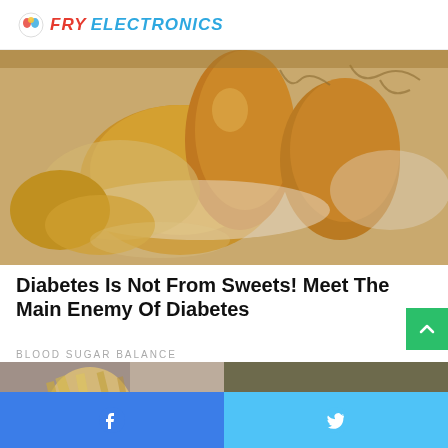FRY ELECTRONICS
[Figure (photo): Close-up photo of butternut squash and potatoes in a white bowl, warm golden-brown tones]
Diabetes Is Not From Sweets! Meet The Main Enemy Of Diabetes
BLOOD SUGAR BALANCE
[Figure (photo): Two side-by-side photos: left shows a woman with blonde hair looking down, right shows a pile of brown sugar or spice]
Facebook share | Twitter share